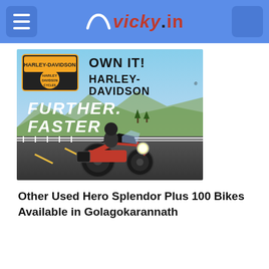vicky.in
[Figure (photo): Harley-Davidson advertisement banner showing 'FURTHER. FASTER' with a motorcycle rider on a road and the Harley-Davidson logo]
Other Used Hero Splendor Plus 100 Bikes Available in Golagokarannath